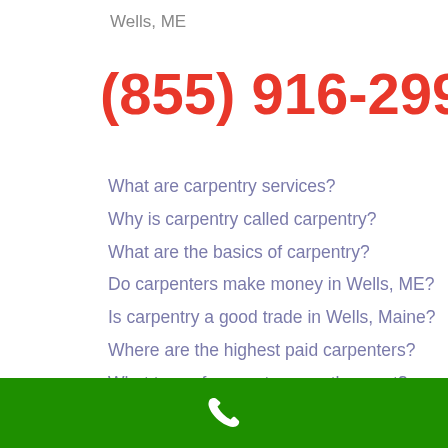Wells, ME
(855) 916-2991
What are carpentry services?
Why is carpentry called carpentry?
What are the basics of carpentry?
Do carpenters make money in Wells, ME?
Is carpentry a good trade in Wells, Maine?
Where are the highest paid carpenters?
What type of carpentry pays the most?
What do union carpenters make an hour?
Who is the most famous carpenter in Wells?
How much does a master carpenter make a year?
[Figure (other): Green bar at bottom with white phone icon]